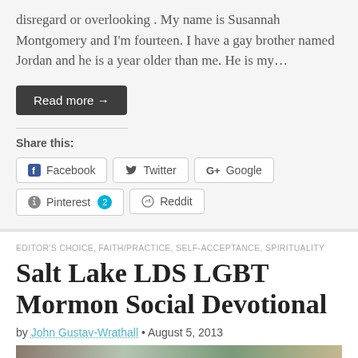disregard or overlooking . My name is Susannah Montgomery and I'm fourteen. I have a gay brother named Jordan and he is a year older than me. He is my…
Read more →
Share this:
Facebook
Twitter
Google
Pinterest 2
Reddit
EDITOR'S CHOICE, FAITH/PRACTICE, SELF-ACCEPTANCE, SPIRITUALITY
Salt Lake LDS LGBT Mormon Social Devotional
by John Gustav-Wrathall • August 5, 2013
[Figure (photo): Photo strip at bottom of article]